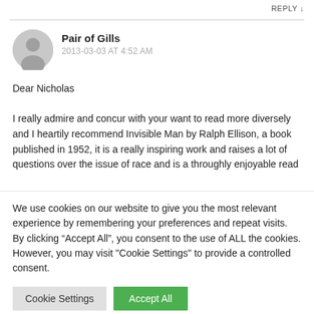REPLY ↓
[Figure (illustration): Gray circular avatar icon with silhouette of a person]
Pair of Gills
2013-03-03 AT 4:52 AM
Dear Nicholas

I really admire and concur with your want to read more diversely and I heartily recommend Invisible Man by Ralph Ellison, a book published in 1952, it is a really inspiring work and raises a lot of questions over the issue of race and is a throughly enjoyable read
We use cookies on our website to give you the most relevant experience by remembering your preferences and repeat visits. By clicking “Accept All”, you consent to the use of ALL the cookies. However, you may visit "Cookie Settings" to provide a controlled consent.
Cookie Settings
Accept All